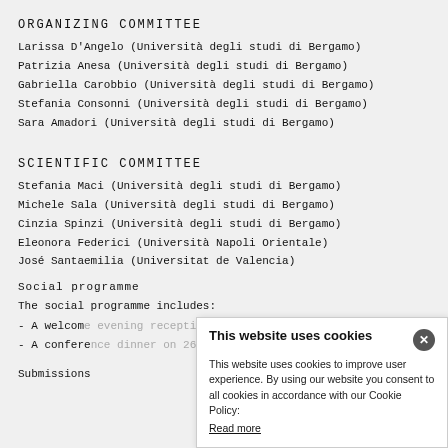ORGANIZING COMMITTEE
Larissa D'Angelo (Università degli studi di Bergamo)
Patrizia Anesa (Università degli studi di Bergamo)
Gabriella Carobbio (Università degli studi di Bergamo)
Stefania Consonni (Università degli studi di Bergamo)
Sara Amadori (Università degli studi di Bergamo)
SCIENTIFIC COMMITTEE
Stefania Maci (Università degli studi di Bergamo)
Michele Sala (Università degli studi di Bergamo)
Cinzia Spinzi (Università degli studi di Bergamo)
Eleonora Federici (Università Napoli Orientale)
José Santaemilia (Universitat de Valencia)
Social programme
The social programme includes:
- A welcome evening reception on 25th June 2020.
- A conference dinner on 26th June 2020.
Submissions
This website uses cookies — This website uses cookies to improve user experience. By using our website you consent to all cookies in accordance with our Cookie Policy: Read more